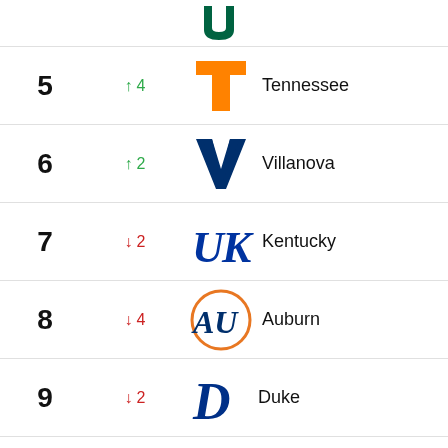| Rank | Change | Team |
| --- | --- | --- |
| 5 | ↑ 4 | Tennessee |
| 6 | ↑ 2 | Villanova |
| 7 | ↓ 2 | Kentucky |
| 8 | ↓ 4 | Auburn |
| 9 | ↓ 2 | Duke |
| 10 | ↓ 1 | Purdue |
View All